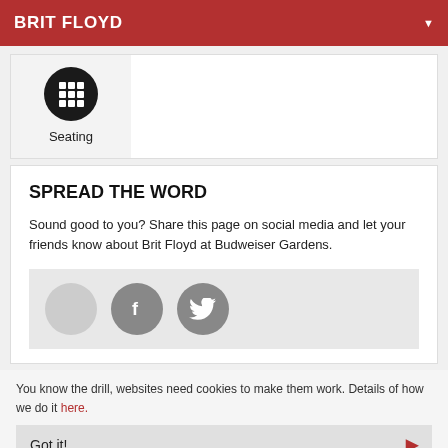BRIT FLOYD
[Figure (illustration): Seating icon: black circle with grid symbol, labeled 'Seating']
SPREAD THE WORD
Sound good to you? Share this page on social media and let your friends know about Brit Floyd at Budweiser Gardens.
[Figure (illustration): Social sharing bar with blank circle, Facebook icon circle, and Twitter bird icon circle on grey background]
You know the drill, websites need cookies to make them work. Details of how we do it here.
Got it!